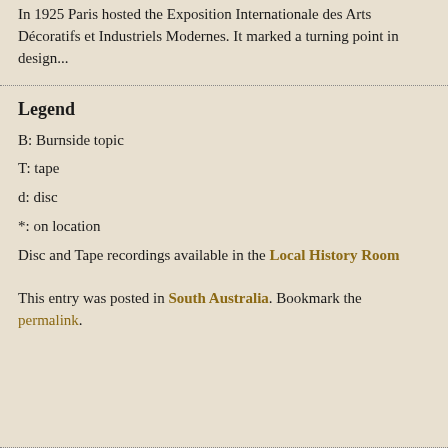In 1925 Paris hosted the Exposition Internationale des Arts Décoratifs et Industriels Modernes. It marked a turning point in design...
Legend
B: Burnside topic
T: tape
d: disc
*: on location
Disc and Tape recordings available in the Local History Room
This entry was posted in South Australia. Bookmark the permalink.